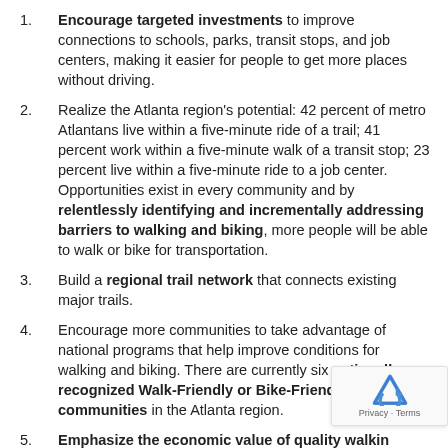Encourage targeted investments to improve connections to schools, parks, transit stops, and job centers, making it easier for people to get more places without driving.
Realize the Atlanta region's potential: 42 percent of metro Atlantans live within a five-minute ride of a trail; 41 percent work within a five-minute walk of a transit stop; 23 percent live within a five-minute ride to a job center. Opportunities exist in every community and by relentlessly identifying and incrementally addressing barriers to walking and biking, more people will be able to walk or bike for transportation.
Build a regional trail network that connects existing major trails.
Encourage more communities to take advantage of national programs that help improve conditions for walking and biking. There are currently six nationally recognized Walk-Friendly or Bike-Friendly communities in the Atlanta region.
Emphasize the economic value of quality walking and bicycling networks. A 2014 study showed that h... all income property developed in metro Atlanta... 2009 occurred in walkable, urban places –